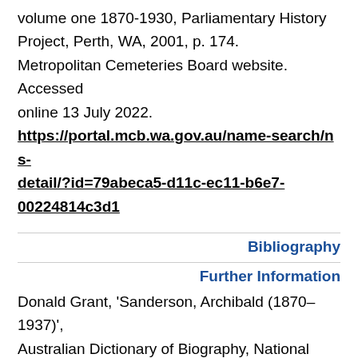volume one 1870-1930, Parliamentary History Project, Perth, WA, 2001, p. 174. Metropolitan Cemeteries Board website. Accessed online 13 July 2022. https://portal.mcb.wa.gov.au/name-search/ns-detail/?id=79abeca5-d11c-ec11-b6e7-00224814c3d1
Bibliography
Further Information
Donald Grant, 'Sanderson, Archibald (1870–1937)', Australian Dictionary of Biography, National Centre of Biography, Australian National University,